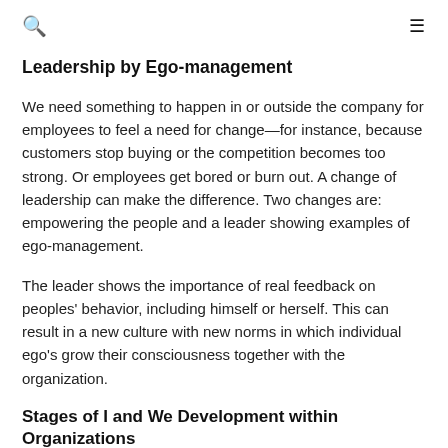🔍  ≡
Leadership by Ego-management
We need something to happen in or outside the company for employees to feel a need for change—for instance, because customers stop buying or the competition becomes too strong. Or employees get bored or burn out. A change of leadership can make the difference. Two changes are: empowering the people and a leader showing examples of ego-management.
The leader shows the importance of real feedback on peoples' behavior, including himself or herself. This can result in a new culture with new norms in which individual ego's grow their consciousness together with the organization.
Stages of I and We Development within Organizations